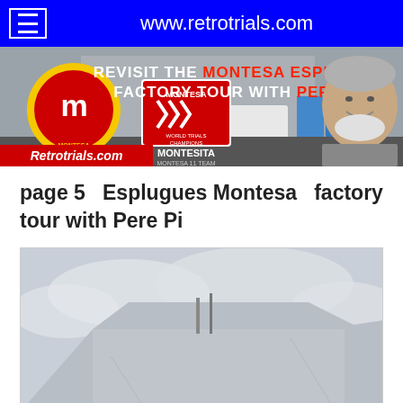www.retrotrials.com
[Figure (photo): Banner image: Revisit the Montesa Esplugues Factory Tour with Pere Pi. Shows Montesa logo, World Trials Champions badge, Montesita text, Retrotrials.com logo, factory building exterior, and a smiling older man with white beard.]
page 5   Esplugues Montesa   factory tour with Pere Pi
[Figure (photo): Photograph showing rooftop or upper exterior of a concrete building against a cloudy sky.]